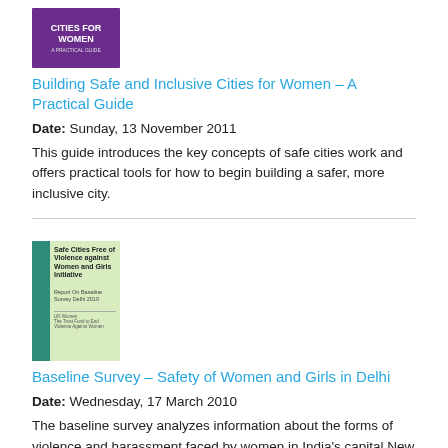[Figure (illustration): Book cover for 'Building Safe and Inclusive Cities for Women – A Practical Guide', purple background with white bold text.]
Building Safe and Inclusive Cities for Women – A Practical Guide
Date: Sunday, 13 November 2011
This guide introduces the key concepts of safe cities work and offers practical tools for how to begin building a safer, more inclusive city.
[Figure (illustration): Book cover for 'Baseline Survey – Safety of Women and Girls in Delhi', green and light yellow/green background with small text.]
Baseline Survey – Safety of Women and Girls in Delhi
Date: Wednesday, 17 March 2010
The baseline survey analyzes information about the forms of violence and harassment faced by women in India's capital New Delhi, perceptions and attitudes to sexual harassment, and the role of governing agencies in safeguarding women's rights.